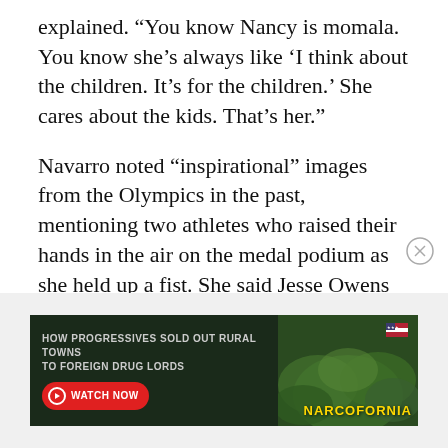explained. “You know Nancy is momala. You know she’s always like ‘I think about the children. It’s for the children.’ She cares about the kids. That’s her.”
Navarro noted “inspirational” images from the Olympics in the past, mentioning two athletes who raised their hands in the air on the medal podium as she held up a fist. She said Jesse Owens and another name, which couldn’t be heard clearly, but sounded like Carlos.
[Figure (other): Advertisement banner: 'HOW PROGRESSIVES SOLD OUT RURAL TOWNS TO FOREIGN DRUG LORDS' with WATCH NOW button and NARCOFORNIA logo on green cannabis leaf background.]